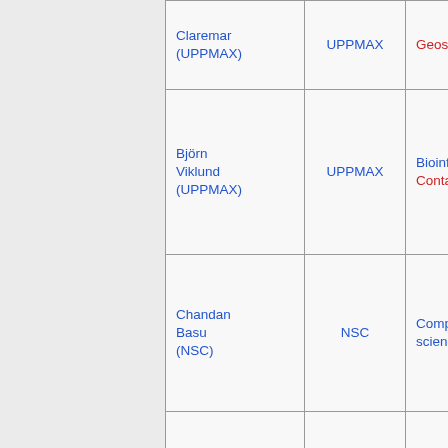| Name | Centre | Topic |
| --- | --- | --- |
| Claremar (UPPMAX) | UPPMAX | Geoscience |
| Björn Viklund (UPPMAX) | UPPMAX | Bioinformatics Containers |
| Chandan Basu (NSC) | NSC | Computational science |
| Diana Iusan (UPPMAX) | UPPMAX | Computational materials science Performance tuning |